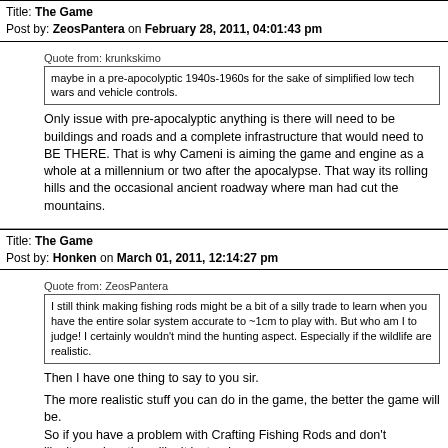Title: The Game
Post by: ZeosPantera on February 28, 2011, 04:01:43 pm
Quote from: krunkskimo
maybe in a pre-apocolyptic 1940s-1960s for the sake of simplified low tech wars and vehicle controls.
Only issue with pre-apocalyptic anything is there will need to be buildings and roads and a complete infrastructure that would need to BE THERE. That is why Cameni is aiming the game and engine as a whole at a millennium or two after the apocalypse. That way its rolling hills and the occasional ancient roadway where man had cut the mountains.
Title: The Game
Post by: Honken on March 01, 2011, 12:14:27 pm
Quote from: ZeosPantera
I still think making fishing rods might be a bit of a silly trade to learn when you have the entire solar system accurate to ~1cm to play with. But who am I to judge! I certainly wouldn't mind the hunting aspect. Especially if the wildlife are realistic.
Then I have one thing to say to you sir.
The more realistic stuff you can do in the game, the better the game will be.
So if you have a problem with Crafting Fishing Rods and don't like it, maybe others like it instead.